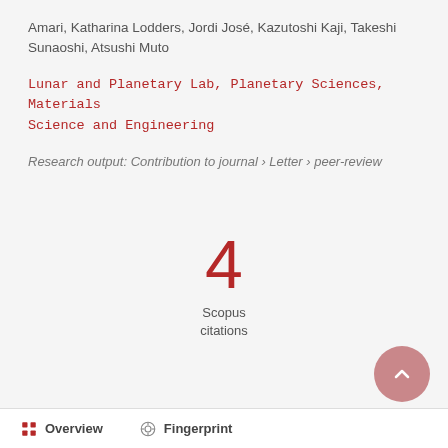Amari, Katharina Lodders, Jordi José, Kazutoshi Kaji, Takeshi Sunaoshi, Atsushi Muto
Lunar and Planetary Lab, Planetary Sciences, Materials Science and Engineering
Research output: Contribution to journal › Letter › peer-review
4
Scopus
citations
Overview   Fingerprint